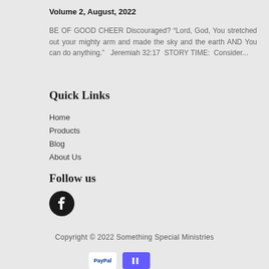Volume 2, August, 2022
BE OF GOOD CHEER Discouraged? “Lord, God, You stretched out your mighty arm and made the sky and the earth AND You can do anything.”   Jeremiah 32:17  STORY TIME:  Consider...
Quick Links
Home
Products
Blog
About Us
Follow us
[Figure (logo): Facebook circle logo icon, black background with white 'f' letter]
Copyright © 2022 Something Special Ministries
[Figure (other): PayPal and another payment method icons at the bottom]